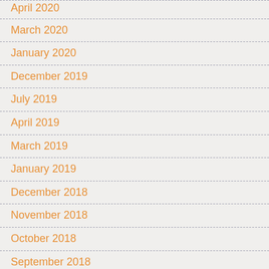April 2020
March 2020
January 2020
December 2019
July 2019
April 2019
March 2019
January 2019
December 2018
November 2018
October 2018
September 2018